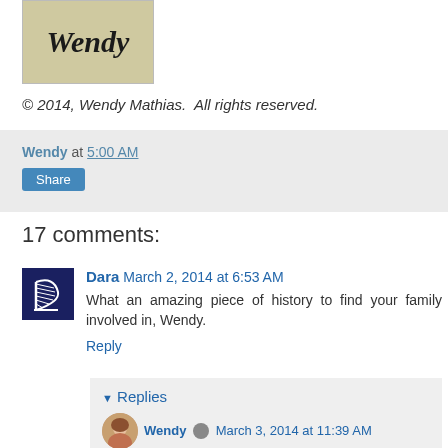[Figure (illustration): Cursive 'Wendy' text on a tan/olive background]
© 2014, Wendy Mathias.  All rights reserved.
Wendy at 5:00 AM
Share
17 comments:
[Figure (illustration): Blue square avatar with white Irish harp]
Dara   March 2, 2014 at 6:53 AM
What an amazing piece of history to find your family involved in, Wendy.
Reply
▼ Replies
[Figure (photo): Small circular avatar of a woman]
Wendy  ✏  March 3, 2014 at 11:39 AM